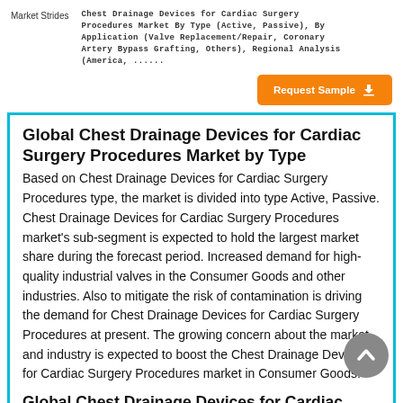Market Strides | Chest Drainage Devices for Cardiac Surgery Procedures Market By Type (Active, Passive), By Application (Valve Replacement/Repair, Coronary Artery Bypass Grafting, Others), Regional Analysis (America, ......
Global Chest Drainage Devices for Cardiac Surgery Procedures Market by Type
Based on Chest Drainage Devices for Cardiac Surgery Procedures type, the market is divided into type Active, Passive. Chest Drainage Devices for Cardiac Surgery Procedures market's sub-segment is expected to hold the largest market share during the forecast period. Increased demand for high-quality industrial valves in the Consumer Goods and other industries. Also to mitigate the risk of contamination is driving the demand for Chest Drainage Devices for Cardiac Surgery Procedures at present. The growing concern about the market and industry is expected to boost the Chest Drainage Devices for Cardiac Surgery Procedures market in Consumer Goods.
Global Chest Drainage Devices for Cardiac Surgery...